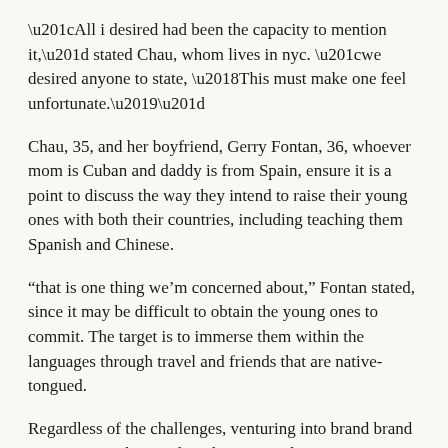“All i desired had been the capacity to mention it,” stated Chau, whom lives in nyc. “we desired anyone to state, ‘This must make one feel unfortunate.’”
Chau, 35, and her boyfriend, Gerry Fontan, 36, whoever mom is Cuban and daddy is from Spain, ensure it is a point to discuss the way they intend to raise their young ones with both their countries, including teaching them Spanish and Chinese.
“that is one thing we’m concerned about,” Fontan stated, since it may be difficult to obtain the young ones to commit. The target is to immerse them within the languages through travel and friends that are native-tongued.
Regardless of the challenges, venturing into brand brand new territory that is ethnic love expands perspectives and, Christelyn Karazin claims, “adds taste.” It is important to her that their young ones comprehend the richness of these diverse history, such as the proven fact that her spouse arises from a Westport, Conn.,